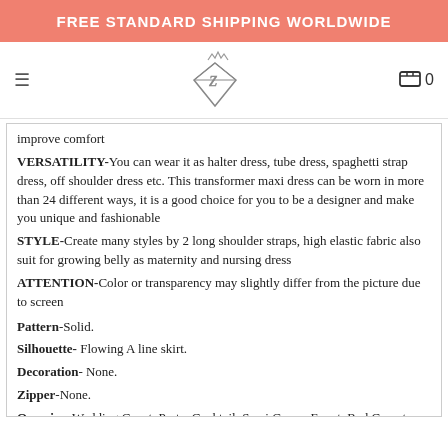FREE STANDARD SHIPPING WORLDWIDE
[Figure (logo): Diamond-shaped logo with Z initial and crown]
improve comfort
VERSATILITY-You can wear it as halter dress, tube dress, spaghetti strap dress, off shoulder dress etc. This transformer maxi dress can be worn in more than 24 different ways, it is a good choice for you to be a designer and make you unique and fashionable
STYLE-Create many styles by 2 long shoulder straps, high elastic fabric also suit for growing belly as maternity and nursing dress
ATTENTION-Color or transparency may slightly differ from the picture due to screen
Pattern-Solid.
Silhouette- Flowing A line skirt.
Decoration- None.
Zipper-None.
Occasion-Wedding Guest, Party, Cocktail, Semi Gown, Event, Red Carpet, Formal Occasion, Bridesmaid, Homecoming, Sweet 16, Vacation, Honeymoon, Beach Maxi Dress, Holiday, Boho